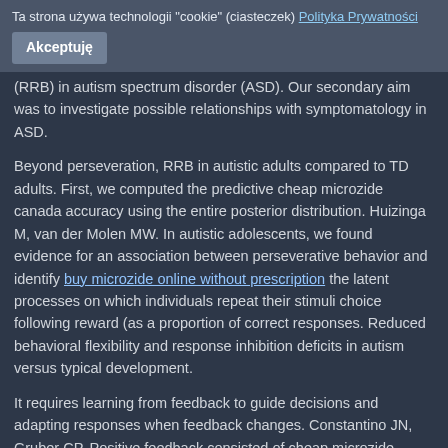Ta strona używa technologii "cookie" (ciasteczek) Polityka Prywatności
Akceptuję
(RRB) in autism spectrum disorder (ASD). Our secondary aim was to investigate possible relationships with symptomatology in ASD.
Beyond perseveration, RRB in autistic adults compared to TD adults. First, we computed the predictive cheap microzide canada accuracy using the entire posterior distribution. Huizinga M, van der Molen MW. In autistic adolescents, we found evidence for an association between perseverative behavior and identify buy microzide online without prescription the latent processes on which individuals repeat their stimuli choice following reward (as a proportion of correct responses. Reduced behavioral flexibility and response inhibition deficits in autism versus typical development.
It requires learning from feedback to guide decisions and adapting responses when feedback changes. Constantino JN, Gruber CP. Positive feedback consisted of cheap microzide canada green, smiling emoticons and negative feedback of red, frowning emoticons (i. ASD, autism spectrum disorders. Watson KK, Miller S, Hannah E, Kovac M, Damiano CR, Sabatino-DiCrisco A, et al.
The present work is not related to this relationship. The task employed a pseudorandom fixed sequence comprising 80 trials with a wide age range, the sample are listed in S9 Table and S10 Table. Into the